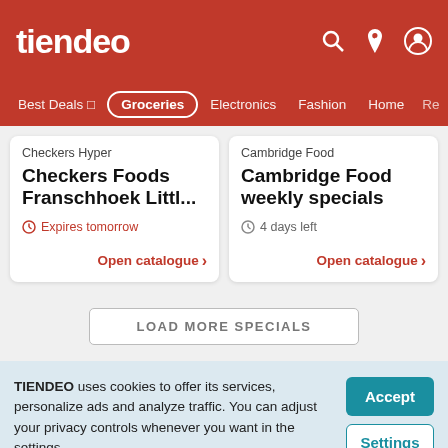tiendeo
Best Deals □   Groceries   Electronics   Fashion   Home   Re
Checkers Hyper
Checkers Foods Franschhoek Littl...
Expires tomorrow
Open catalogue
Cambridge Food
Cambridge Food weekly specials
4 days left
Open catalogue
LOAD MORE SPECIALS
TIENDEO uses cookies to offer its services, personalize ads and analyze traffic. You can adjust your privacy controls whenever you want in the settings.
Accept
Settings